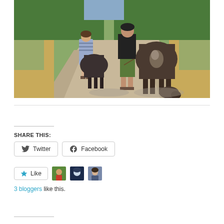[Figure (photo): Two people walking down a rural road, each leading a dark-colored donkey from behind. The road is flanked by dry golden grass and green trees. Shot from behind on a sunny day.]
SHARE THIS:
[Figure (screenshot): Twitter share button with bird icon]
[Figure (screenshot): Facebook share button with Facebook icon]
[Figure (screenshot): Like button with star icon and three blogger avatars]
3 bloggers like this.